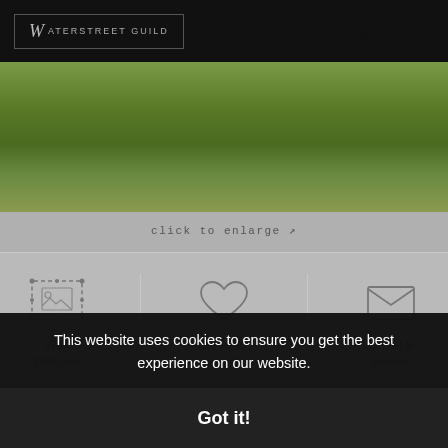Waterstreet Guild
[Figure (photo): Bottom portion of a photo showing grass/lawn with legs/feet visible at top edge]
click to enlarge ↗
[Figure (other): Wall Preview icon - dashed frame with image placeholder]
Wall Preview
[Figure (other): Save to Favorites icon - heart outline]
Save to Favorites
[Figure (other): Email a Friend icon - envelope outline]
Email a Friend
STATELY GAIT
This website uses cookies to ensure you get the best experience on our website.
Got it!